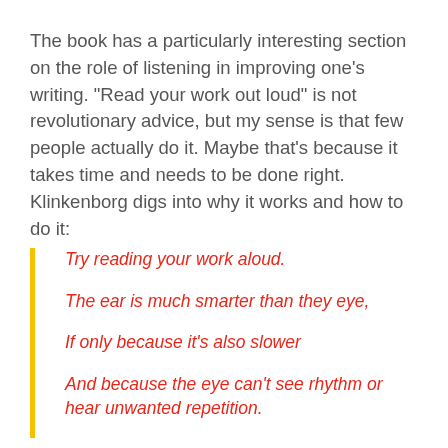The book has a particularly interesting section on the role of listening in improving one’s writing. “Read your work out loud” is not revolutionary advice, but my sense is that few people actually do it. Maybe that’s because it takes time and needs to be done right. Klinkenborg digs into why it works and how to do it:
Try reading your work aloud.
The ear is much smarter than they eye,
If only because it’s also slower
And because the eye can’t see rhythm or hear unwanted repetition.